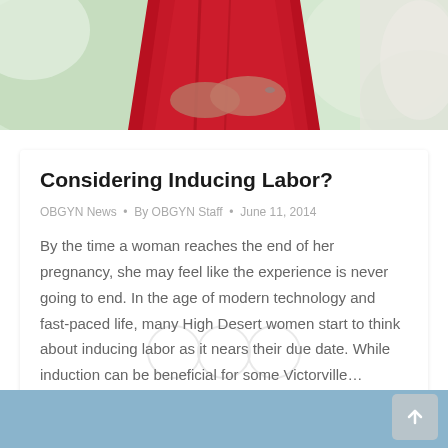[Figure (photo): A pregnant woman in a red dress with hands folded over her belly, blurred background]
Considering Inducing Labor?
OBGYN News · By OBGYN Staff · June 11, 2014
By the time a woman reaches the end of her pregnancy, she may feel like the experience is never going to end. In the age of modern technology and fast-paced life, many High Desert women start to think about inducing labor as it nears their due date. While induction can be beneficial for some Victorville…